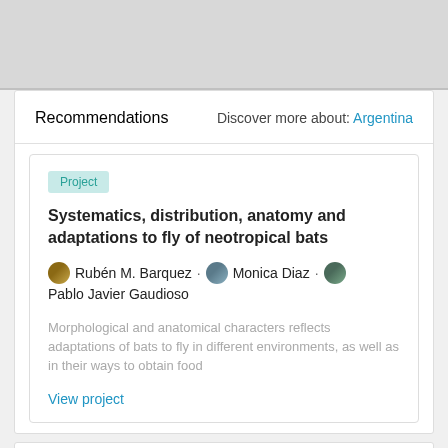Recommendations
Discover more about: Argentina
Project
Systematics, distribution, anatomy and adaptations to fly of neotropical bats
Rubén M. Barquez · Monica Diaz · Pablo Javier Gaudioso
Morphological and anatomical characters reflects adaptations of bats to fly in different environments, as well as in their ways to obtain food
View project